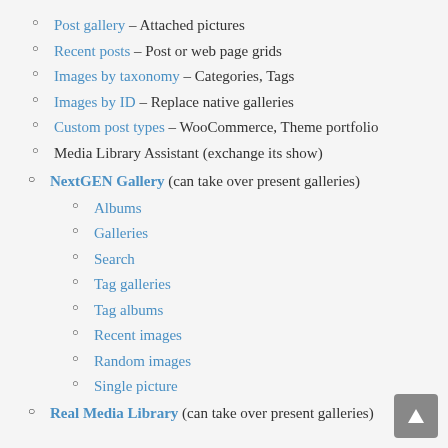Post gallery – Attached pictures
Recent posts – Post or web page grids
Images by taxonomy – Categories, Tags
Images by ID – Replace native galleries
Custom post types – WooCommerce, Theme portfolio
Media Library Assistant (exchange its show)
NextGEN Gallery (can take over present galleries)
Albums
Galleries
Search
Tag galleries
Tag albums
Recent images
Random images
Single picture
Real Media Library (can take over present galleries)